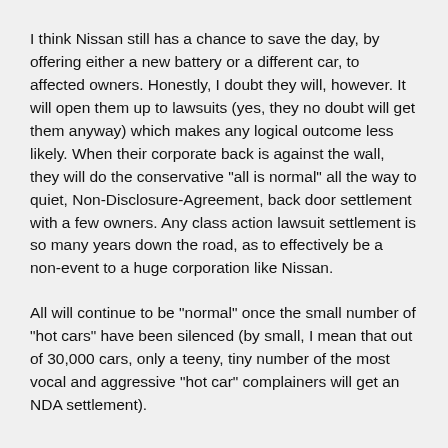I think Nissan still has a chance to save the day, by offering either a new battery or a different car, to affected owners. Honestly, I doubt they will, however. It will open them up to lawsuits (yes, they no doubt will get them anyway) which makes any logical outcome less likely. When their corporate back is against the wall, they will do the conservative "all is normal" all the way to quiet, Non-Disclosure-Agreement, back door settlement with a few owners. Any class action lawsuit settlement is so many years down the road, as to effectively be a non-event to a huge corporation like Nissan.
All will continue to be "normal" once the small number of "hot cars" have been silenced (by small, I mean that out of 30,000 cars, only a teeny, tiny number of the most vocal and aggressive "hot car" complainers will get an NDA settlement).